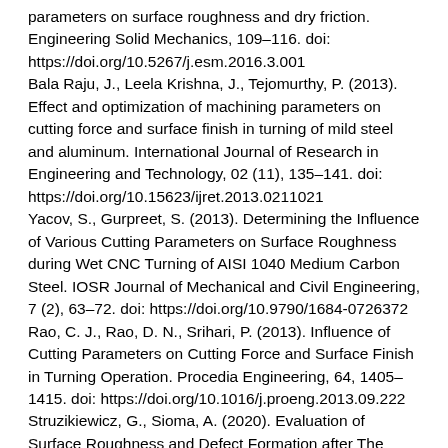parameters on surface roughness and dry friction. Engineering Solid Mechanics, 109–116. doi: https://doi.org/10.5267/j.esm.2016.3.001
Bala Raju, J., Leela Krishna, J., Tejomurthy, P. (2013). Effect and optimization of machining parameters on cutting force and surface finish in turning of mild steel and aluminum. International Journal of Research in Engineering and Technology, 02 (11), 135–141. doi: https://doi.org/10.15623/ijret.2013.0211021
Yacov, S., Gurpreet, S. (2013). Determining the Influence of Various Cutting Parameters on Surface Roughness during Wet CNC Turning of AISI 1040 Medium Carbon Steel. IOSR Journal of Mechanical and Civil Engineering, 7 (2), 63–72. doi: https://doi.org/10.9790/1684-0726372
Rao, C. J., Rao, D. N., Srihari, P. (2013). Influence of Cutting Parameters on Cutting Force and Surface Finish in Turning Operation. Procedia Engineering, 64, 1405–1415. doi: https://doi.org/10.1016/j.proeng.2013.09.222
Struzikiewicz, G., Sioma, A. (2020). Evaluation of Surface Roughness and Defect Formation after The Machining of Sintered Aluminum Alloy AlSi10Mg. Materials, 13 (7), 1662. doi: https://doi.org/10.3390/ma13071662
Mia, M., Bashir, M. A., Dhar, N. R. (2016). Effects of Cutting